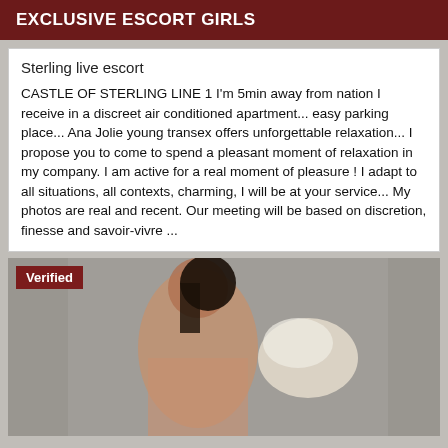EXCLUSIVE ESCORT GIRLS
Sterling live escort
CASTLE OF STERLING LINE 1 I'm 5min away from nation I receive in a discreet air conditioned apartment... easy parking place... Ana Jolie young transex offers unforgettable relaxation... I propose you to come to spend a pleasant moment of relaxation in my company. I am active for a real moment of pleasure ! I adapt to all situations, all contexts, charming, I will be at your service... My photos are real and recent. Our meeting will be based on discretion, finesse and savoir-vivre ...
[Figure (photo): Photo of a woman posing, with a 'Verified' badge overlay in the top-left corner]